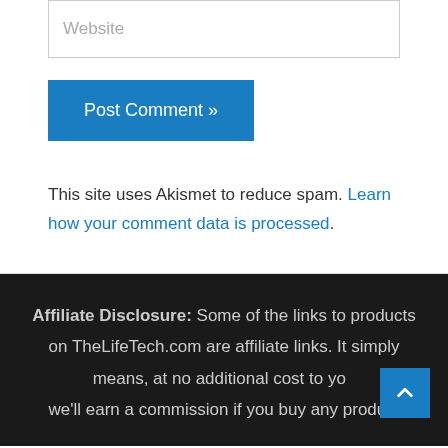Website
Post Comment »
This site uses Akismet to reduce spam. Learn how your comment data is processed.
Affiliate Disclosure: Some of the links to products on TheLifeTech.com are affiliate links. It simply means, at no additional cost to you, we'll earn a commission if you buy any product